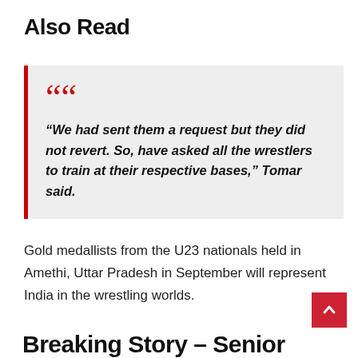Also Read
“We had sent them a request but they did not revert. So, have asked all the wrestlers to train at their respective bases,” Tomar said.
Gold medallists from the U23 nationals held in Amethi, Uttar Pradesh in September will represent India in the wrestling worlds.
Breaking Story – Senior